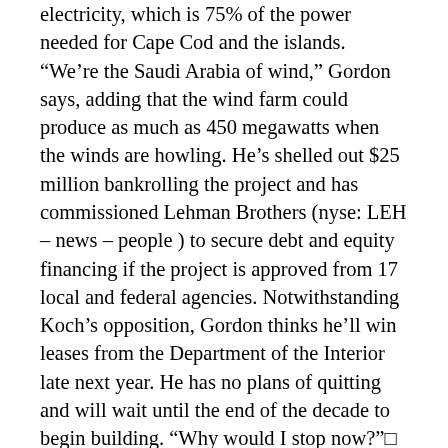electricity, which is 75% of the power needed for Cape Cod and the islands. “We’re the Saudi Arabia of wind,” Gordon says, adding that the wind farm could produce as much as 450 megawatts when the winds are howling. He’s shelled out $25 million bankrolling the project and has commissioned Lehman Brothers (nyse: LEH – news – people ) to secure debt and equity financing if the project is approved from 17 local and federal agencies. Notwithstanding Koch’s opposition, Gordon thinks he’ll win leases from the Department of the Interior late next year. He has no plans of quitting and will wait until the end of the decade to begin building. “Why would I stop now?”□
Except the turbines will be in Koch’s view. Over a windswept lawn, Koch looks out to the sound and says, “Jim is very good and an extremely formidable opponent.” At his seaside estate he has his seven boats (one is a speedboat designed for the Navy Seals that can hit 50 knots), Botero sculptures and a playground for his six children. He’s amassed an estimated wealth of $1.3